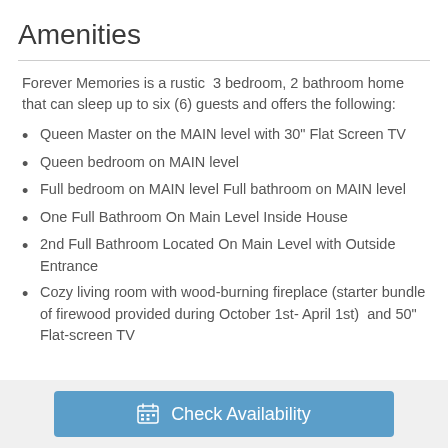Amenities
Forever Memories is a rustic  3 bedroom, 2 bathroom home that can sleep up to six (6) guests and offers the following:
Queen Master on the MAIN level with 30" Flat Screen TV
Queen bedroom on MAIN level
Full bedroom on MAIN level Full bathroom on MAIN level
One Full Bathroom On Main Level Inside House
2nd Full Bathroom Located On Main Level with Outside Entrance
Cozy living room with wood-burning fireplace (starter bundle of firewood provided during October 1st- April 1st)  and 50" Flat-screen TV
Check Availability